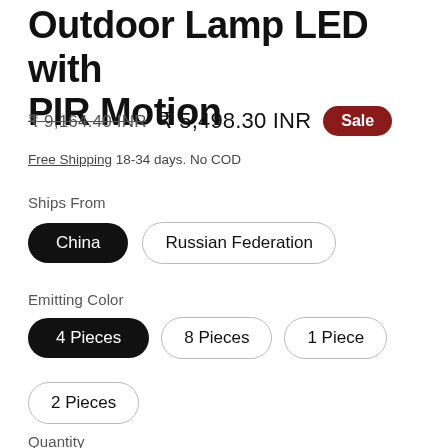Outdoor Lamp LED with PIR Motion
₹ 9,164.40 INR  ₹ 5,498.30 INR  Sale
Free Shipping 18-34 days. No COD
Ships From
China
Russian Federation
Emitting Color
4 Pieces
8 Pieces
1 Piece
2 Pieces
Quantity